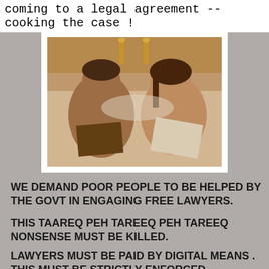coming to a legal agreement --cooking the case !
[Figure (photo): Sepia-toned vintage photograph of a man and woman lying in bed, each reading books/documents]
WE DEMAND POOR PEOPLE TO BE HELPED BY THE GOVT IN ENGAGING FREE LAWYERS.
THIS TAAREQ PEH TAREEQ PEH TAREEQ NONSENSE MUST BE KILLED.
LAWYERS MUST BE PAID BY DIGITAL MEANS .  THIS MUST BE STRICTLY ENFORCED.